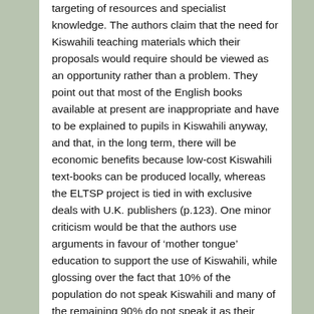targeting of resources and specialist knowledge. The authors claim that the need for Kiswahili teaching materials which their proposals would require should be viewed as an opportunity rather than a problem. They point out that most of the English books available at present are inappropriate and have to be explained to pupils in Kiswahili anyway, and that, in the long term, there will be economic benefits because low-cost Kiswahili text-books can be produced locally, whereas the ELTSP project is tied in with exclusive deals with U.K. publishers (p.123). One minor criticism would be that the authors use arguments in favour of 'mother tongue' education to support the use of Kiswahili, while glossing over the fact that 10% of the population do not speak Kiswahili and many of the remaining 90% do not speak it as their mother tongue.
Many of the claims made in this thoroughly readable book are not new, neither is the major piece of research into secondary school students' reading competence in English, presented in chapters 2 to 4. However, the fact that the situation regarding language policy in secondary